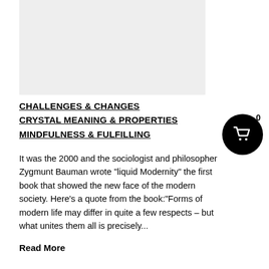[Figure (other): Light grey rectangular image placeholder at top of page]
CHALLENGES & CHANGES
CRYSTAL MEANING & PROPERTIES
MINDFULNESS & FULFILLING
It was the 2000 and the sociologist and philosopher Zygmunt Bauman wrote "liquid Modernity" the first book that showed the new face of the modern society. Here's a quote from the book:"Forms of modern life may differ in quite a few respects – but what unites them all is precisely...
Read More